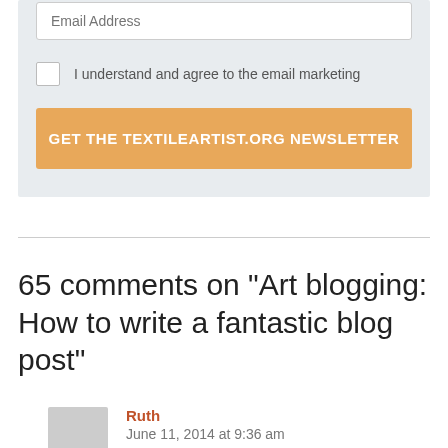Email Address
I understand and agree to the email marketing
GET THE TEXTILEARTIST.ORG NEWSLETTER
65 comments on “Art blogging: How to write a fantastic blog post”
Ruth
June 11, 2014 at 9:36 am